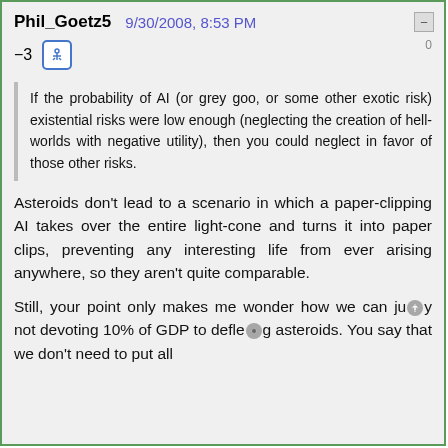Phil_Goetz5   9/30/2008, 8:53 PM
−3
If the probability of AI (or grey goo, or some other exotic risk) existential risks were low enough (neglecting the creation of hell-worlds with negative utility), then you could neglect in favor of those other risks.
Asteroids don't lead to a scenario in which a paper-clipping AI takes over the entire light-cone and turns it into paper clips, preventing any interesting life from ever arising anywhere, so they aren't quite comparable.
Still, your point only makes me wonder how we can justify not devoting 10% of GDP to deflecting asteroids. You say that we don't need to put all